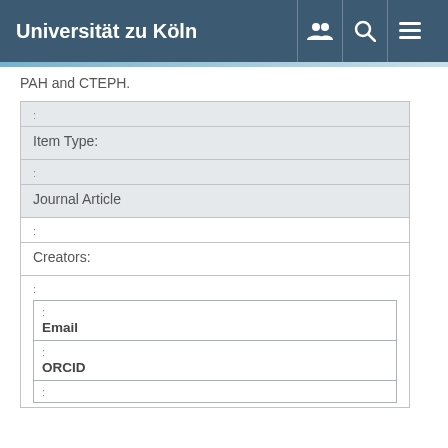Universität zu Köln
PAH and CTEPH.
| : | Item Type: | : | Journal Article | : | Creators: | : | Email | : | ORCID | : |
| --- | --- | --- | --- | --- | --- | --- | --- | --- | --- | --- |